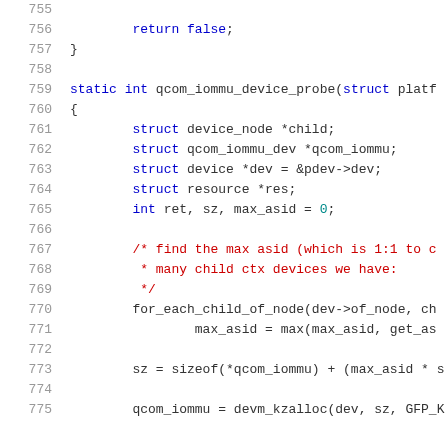Source code listing, lines 755-775, C language kernel driver code for qcom_iommu_device_probe function.